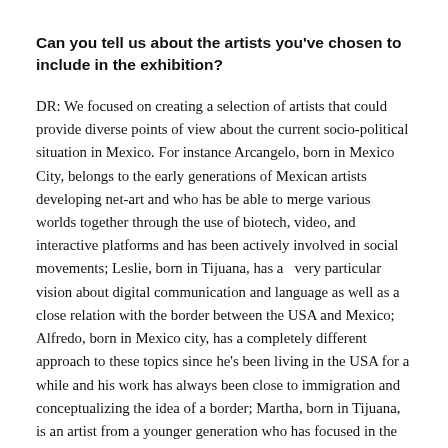Can you tell us about the artists you've chosen to include in the exhibition?
DR: We focused on creating a selection of artists that could provide diverse points of view about the current socio-political situation in Mexico. For instance Arcangelo, born in Mexico City, belongs to the early generations of Mexican artists developing net-art and who has be able to merge various worlds together through the use of biotech, video, and interactive platforms and has been actively involved in social movements; Leslie, born in Tijuana, has a  very particular vision about digital communication and language as well as a close relation with the border between the USA and Mexico; Alfredo, born in Mexico city, has a completely different approach to these topics since he's been living in the USA for a while and his work has always been close to immigration and conceptualizing the idea of a border; Martha, born in Tijuana, is an artist from a younger generation who has focused in the use of glitch as a playful tool for political critique; Diego Ortega, born in Toluca, also an artist from a young generation who focuses on the limits of privacy, identity and the impacts of mass media; and Gibrann, born in Mexico city, who has a deep interest in the creation of speculative environments to engage in contemporary